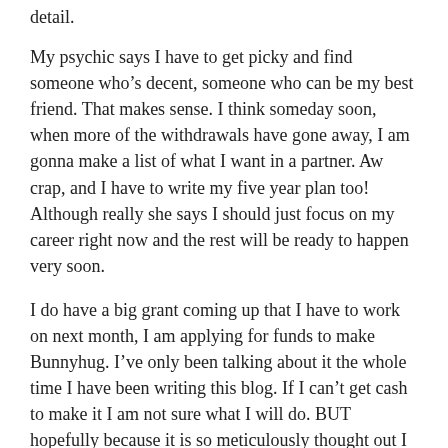detail.
My psychic says I have to get picky and find someone who's decent, someone who can be my best friend. That makes sense. I think someday soon, when more of the withdrawals have gone away, I am gonna make a list of what I want in a partner. Aw crap, and I have to write my five year plan too! Although really she says I should just focus on my career right now and the rest will be ready to happen very soon.
I do have a big grant coming up that I have to work on next month, I am applying for funds to make Bunnyhug. I've only been talking about it the whole time I have been writing this blog. If I can't get cash to make it I am not sure what I will do. BUT hopefully because it is so meticulously thought out I will be a shoe in.
Where does that phrase “shoe in” come from anyway? Like a shoe in the door? Probably. Actually that makes the most